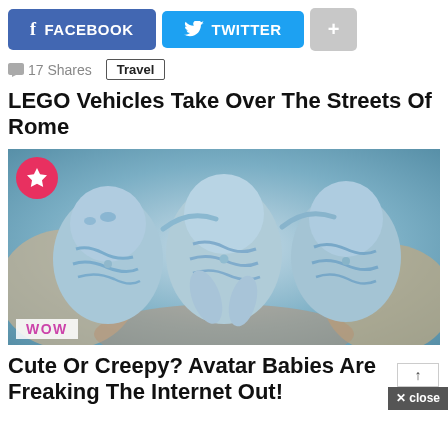[Figure (other): Social media share buttons: Facebook (blue), Twitter (light blue), and a grey plus button]
17 Shares   Travel
LEGO Vehicles Take Over The Streets Of Rome
[Figure (photo): Three blue Avatar-style baby figurines/dolls lying together, with a pink star badge in the top-left corner and 'WOW' label in bottom-left]
Cute Or Creepy? Avatar Babies Are Freaking The Internet Out!